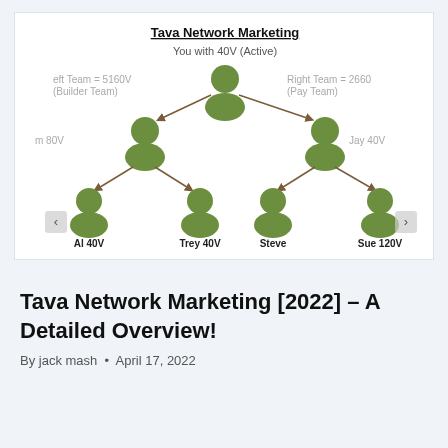[Figure (organizational-chart): Network marketing binary tree diagram titled 'Tava Network Marketing'. Root node: 'You with 40V (Active)'. Left branch: 'Left Team = 5160V (Builder Team)' with node 'm 80V', which has children 'Al 40V' and 'Trey 40V'. Right branch: 'Right Team = 2660 (Pay Team)' with node 'Jay 40V', which has children 'Steve' and 'Sue 120V'. Green person icons represent each node.]
Tava Network Marketing [2022] – A Detailed Overview!
By jack mash  •  April 17, 2022